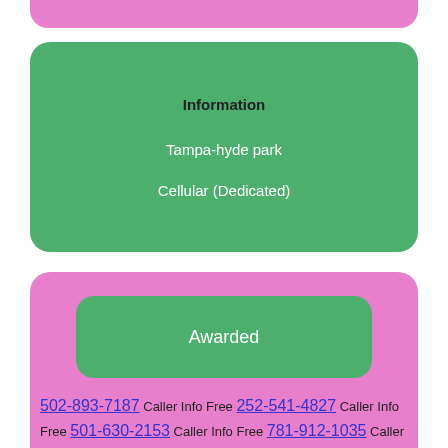[Figure (other): Pink rounded rectangle bar at top, partially cropped]
Information
Tampa-hyde park
Cellular (Dedicated)
Awarded
502-893-7187 Caller Info Free 252-541-4827 Caller Info Free 501-630-2153 Caller Info Free 781-912-1035 Caller Info Free 781-258-1355 Caller Info Free 250-879-